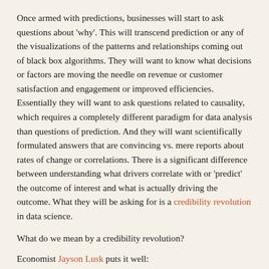Once armed with predictions, businesses will start to ask questions about 'why'. This will transcend prediction or any of the visualizations of the patterns and relationships coming out of black box algorithms. They will want to know what decisions or factors are moving the needle on revenue or customer satisfaction and engagement or improved efficiencies. Essentially they will want to ask questions related to causality, which requires a completely different paradigm for data analysis than questions of prediction. And they will want scientifically formulated answers that are convincing vs. mere reports about rates of change or correlations. There is a significant difference between understanding what drivers correlate with or 'predict' the outcome of interest and what is actually driving the outcome. What they will be asking for is a credibility revolution in data science.
What do we mean by a credibility revolution?
Economist Jayson Lusk puts it well:
"Fortunately economics (at least applied microeconomics) has undergone a bit of credibility revolution.  If you attend a research seminar in virtually any economi(cs) department these days, you're